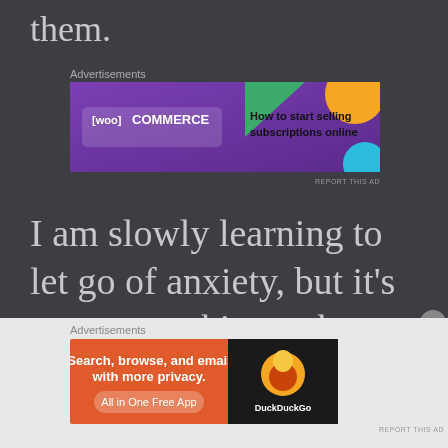them.
Advertisements
[Figure (screenshot): WooCommerce advertisement banner: purple background with WooCommerce logo on left, geometric shapes (green, orange, blue) on right, text reads 'How to start selling subscriptions online']
I am slowly learning to let go of anxiety, but it's nerve-wracking to know that at any time it could pop up again. I had a job interview today for the first time in over a month, my health has been so bad
Advertisements
[Figure (screenshot): DuckDuckGo advertisement banner: orange section on left with text 'Search, browse, and email with more privacy. All in One Free App', black section on right with DuckDuckGo duck logo and brand name]